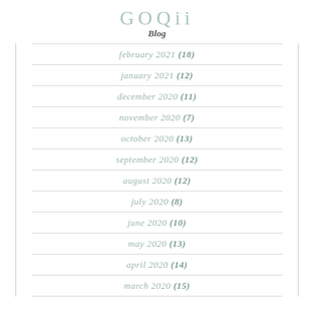GOQii Blog
february 2021 (18)
january 2021 (12)
december 2020 (11)
november 2020 (7)
october 2020 (13)
september 2020 (12)
august 2020 (12)
july 2020 (8)
june 2020 (10)
may 2020 (13)
april 2020 (14)
march 2020 (15)